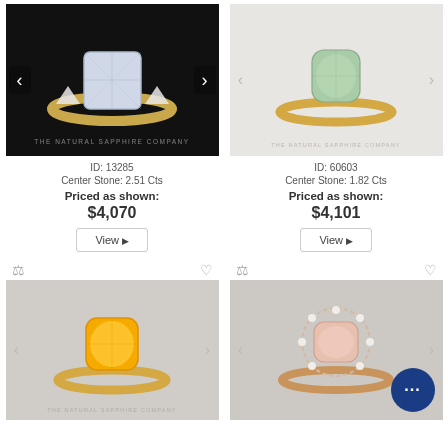[Figure (photo): Ring with large cushion-cut white/clear diamond center stone flanked by two trillion-cut diamonds, set in yellow gold, on black background. THE NATURAL SAPPHIRE COMPANY watermark. Navigation arrows on sides.]
ID: 13285
Center Stone: 2.51 Cts
Priced as shown:
$4,070
View
[Figure (photo): Ring with cushion-cut light green/mint sapphire center stone in simple yellow gold solitaire setting, on light grey/white background. THE NATURAL SAPPHIRE COMPANY watermark. Navigation arrows on sides.]
ID: 60603
Center Stone: 1.82 Cts
Priced as shown:
$4,101
View
[Figure (photo): Ring with large cushion-cut vivid yellow/orange sapphire center stone in yellow gold solitaire setting, on grey background. THE NATURAL SAPPHIRE COMPANY watermark. Navigation arrows on sides.]
[Figure (photo): Ring with cushion-cut light pink/morganite stone surrounded by halo of small diamonds, in yellow/rose gold setting, on grey background. Blue chat bubble icon in bottom right corner. Navigation arrows on sides.]